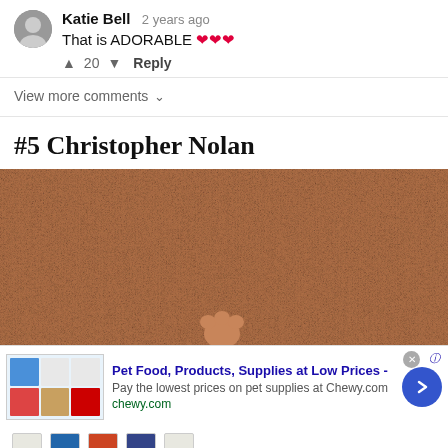Katie Bell  2 years ago
That is ADORABLE ❤❤❤
▲ 20 ▼  Reply
View more comments ∨
#5 Christopher Nolan
[Figure (photo): Close-up photo of brown textured wall or surface with a small animal paw visible at the bottom center]
[Figure (screenshot): Advertisement banner for Chewy.com: Pet Food, Products, Supplies at Low Prices - Pay the lowest prices on pet supplies at Chewy.com, chewy.com]